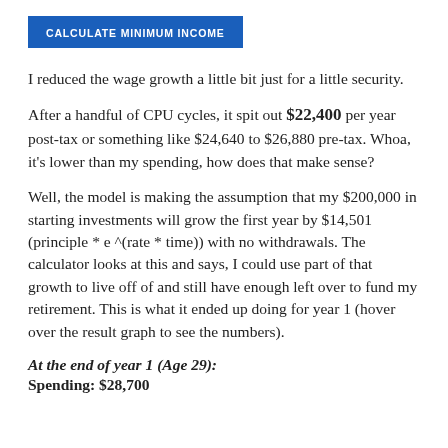[Figure (screenshot): Blue button labeled CALCULATE MINIMUM INCOME]
I reduced the wage growth a little bit just for a little security.
After a handful of CPU cycles, it spit out $22,400 per year post-tax or something like $24,640 to $26,880 pre-tax. Whoa, it's lower than my spending, how does that make sense?
Well, the model is making the assumption that my $200,000 in starting investments will grow the first year by $14,501 (principle * e ^(rate * time)) with no withdrawals. The calculator looks at this and says, I could use part of that growth to live off of and still have enough left over to fund my retirement. This is what it ended up doing for year 1 (hover over the result graph to see the numbers).
At the end of year 1 (Age 29):
Spending: $28,700